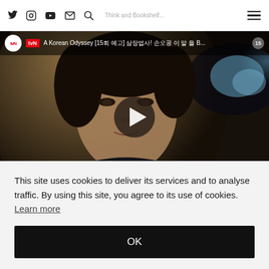Think and Bookshelf — nav bar with Twitter, Instagram, YouTube, Email, Search icons and hamburger menu
[Figure (screenshot): YouTube embedded video player showing tvN channel — A Korean Odyssey [15회 예고] 삼장법사! 손오공 이 말 을 B... with play button overlay and Korean drama actor close-up]
This site uses cookies to deliver its services and to analyse traffic. By using this site, you agree to its use of cookies. Learn more
OK